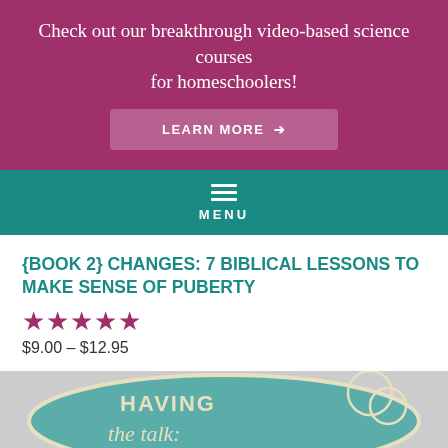Check out our breakthrough video-based science courses for homeschoolers!
LEARN MORE →
MENU
{BOOK 2} CHANGES: 7 BIBLICAL LESSONS TO MAKE SENSE OF PUBERTY
★★★★★
$9.00 – $12.95
[Figure (illustration): Logo/badge with teal background and text 'HAVING the talk:' with decorative circle elements]